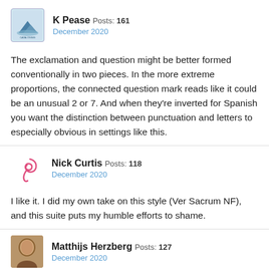K Pease Posts: 161
December 2020
The exclamation and question might be better formed conventionally in two pieces. In the more extreme proportions, the connected question mark reads like it could be an unusual 2 or 7. And when they're inverted for Spanish you want the distinction between punctuation and letters to especially obvious in settings like this.
Nick Curtis Posts: 118
December 2020
I like it. I did my own take on this style (Ver Sacrum NF), and this suite puts my humble efforts to shame.
Matthijs Herzberg Posts: 127
December 2020
@K Pease You break my heart, because you're probably right. I was really proud of that question mark (the exclamation mark is